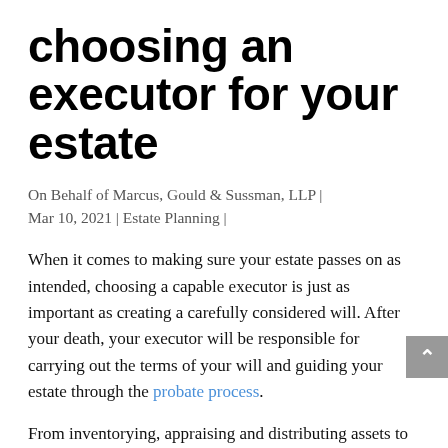choosing an executor for your estate
On Behalf of Marcus, Gould & Sussman, LLP | Mar 10, 2021 | Estate Planning |
When it comes to making sure your estate passes on as intended, choosing a capable executor is just as important as creating a carefully considered will. After your death, your executor will be responsible for carrying out the terms of your will and guiding your estate through the probate process.
From inventorying, appraising and distributing assets to resolving debt and tax obligations, the role of executor is often an involved and time